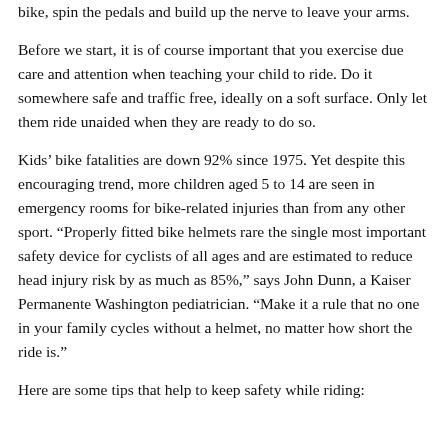bike, spin the pedals and build up the nerve to leave your arms.
Before we start, it is of course important that you exercise due care and attention when teaching your child to ride. Do it somewhere safe and traffic free, ideally on a soft surface. Only let them ride unaided when they are ready to do so.
Kids’ bike fatalities are down 92% since 1975. Yet despite this encouraging trend, more children aged 5 to 14 are seen in emergency rooms for bike-related injuries than from any other sport. “Properly fitted bike helmets rare the single most important safety device for cyclists of all ages and are estimated to reduce head injury risk by as much as 85%,” says John Dunn, a Kaiser Permanente Washington pediatrician. “Make it a rule that no one in your family cycles without a helmet, no matter how short the ride is.”
Here are some tips that help to keep safety while riding: